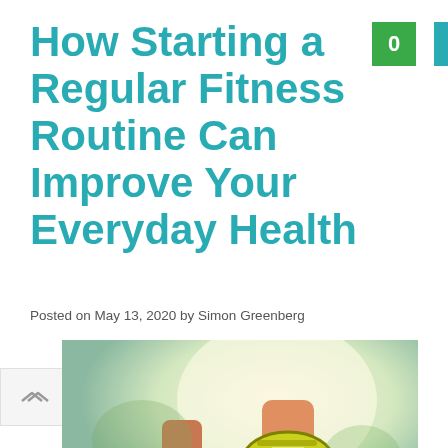How Starting a Regular Fitness Routine Can Improve Your Everyday Health
Posted on May 13, 2020 by Simon Greenberg
[Figure (photo): Close-up photo of a person running on a treadmill, showing their legs and the sole of a yellow athletic shoe lifted off the treadmill belt, with a bright window in the background.]